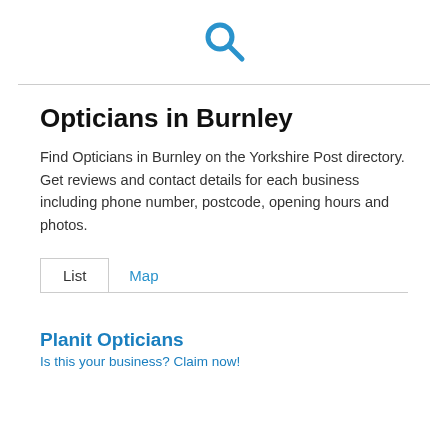[search icon]
Opticians in Burnley
Find Opticians in Burnley on the Yorkshire Post directory. Get reviews and contact details for each business including phone number, postcode, opening hours and photos.
List   Map
Planit Opticians
Is this your business? Claim now!